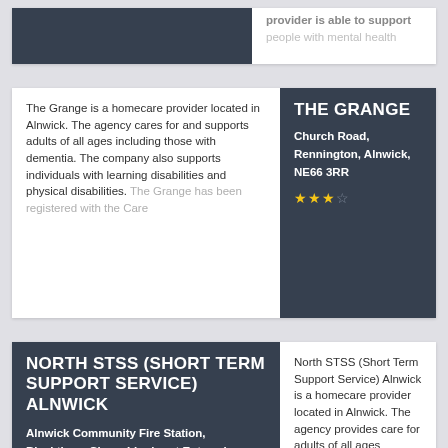provider is able to support people with mental health
THE GRANGE
Church Road, Rennington, Alnwick, NE66 3RR
★★★☆
The Grange is a homecare provider located in Alnwick. The agency cares for and supports adults of all ages including those with dementia. The company also supports individuals with learning disabilities and physical disabilities. The Grange has been registered with the Care
NORTH STSS (SHORT TERM SUPPORT SERVICE) ALNWICK
Alnwick Community Fire Station, Blackthorn Close, Lionheart Enterprise Park, Alnwick, NE66 2ER
North STSS (Short Term Support Service) Alnwick is a homecare provider located in Alnwick. The agency provides care for adults of all ages including those with sensory impairment. The company also supports individuals with